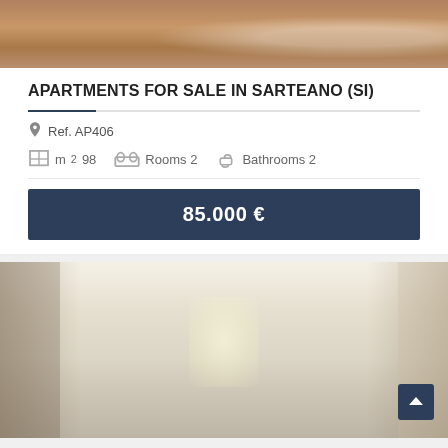[Figure (photo): Interior floor/hallway photo showing tiled floor with light reflecting]
APARTMENTS FOR SALE IN SARTEANO (SI)
Ref. AP406
m² 98   Rooms 2   Bathrooms 2
85.000 €
[Figure (photo): Interior room photo showing hallway/corridor with white walls, framed pictures, windows with curtains, and doors]